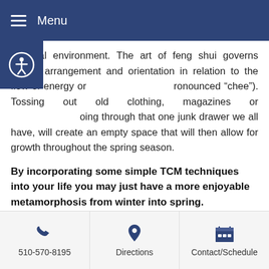Menu
physical environment. The art of feng shui governs spatial arrangement and orientation in relation to the flow of energy or pronounced “chee”). Tossing out old clothing, magazines or going through that one junk drawer we all have, will create an empty space that will then allow for growth throughout the spring season.
By incorporating some simple TCM techniques into your life you may just have a more enjoyable metamorphosis from winter into spring.
This article was posted in . Bookmark the permalink. Follow comments with the RSS feed for this post. Both comments and trackbacks are closed.
SCHEDULE AN APPOINTMENT
510-570-8195  Directions  Contact/Schedule